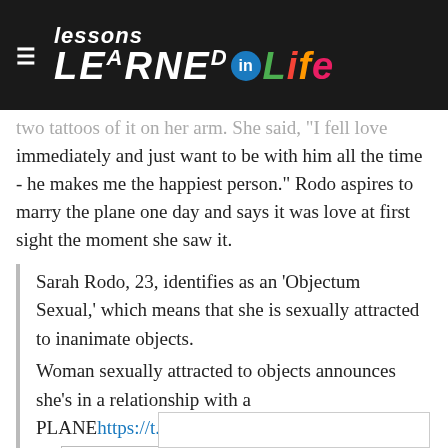Lessons Learned in Life
two tattoos of it on her arm. She said, "I fell love immediately and just want to be with him all the time - he makes me the happiest person." Rodo aspires to marry the plane one day and says it was love at first sight the moment she saw it.
Sarah Rodo, 23, identifies as an 'Objectum Sexual,' which means that she is sexually attracted to inanimate objects.
Woman sexually attracted to objects announces she's in a relationship with a PLANE https://t.co/OadHQqRRwp
pic
[Figure (screenshot): Tweet embed box (partially visible)]